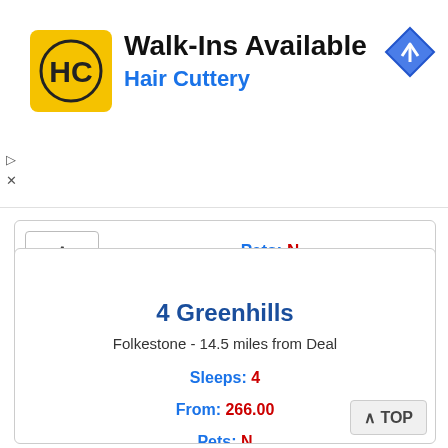[Figure (logo): Hair Cuttery advertisement banner with HC logo, Walk-Ins Available heading, Hair Cuttery brand name, and navigation arrow icon]
Pets: N
Changeover: Saturday
4 Greenhills
Folkestone - 14.5 miles from Deal
Sleeps: 4
From: 266.00
Pets: N
Changeover: Friday